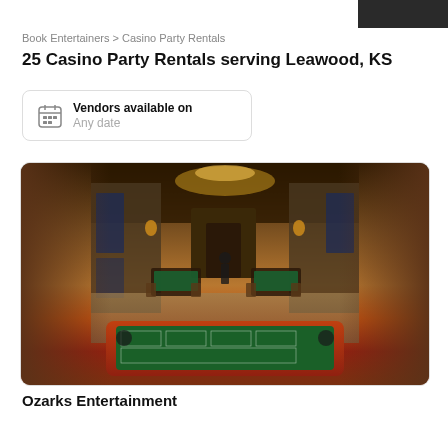Book Entertainers > Casino Party Rentals
25 Casino Party Rentals serving Leawood, KS
Vendors available on
Any date
[Figure (photo): Interior of a casino party venue showing gaming tables including a craps table in the foreground, with chairs, warm lighting, and wooden decor in a lodge-style room. Blurred edges on left and right.]
Ozarks Entertainment